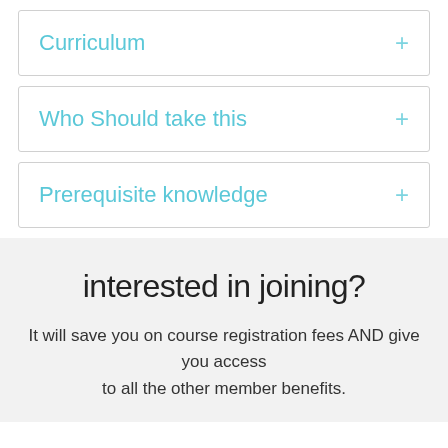Curriculum
Who Should take this
Prerequisite knowledge
interested in joining?
It will save you on course registration fees AND give you access to all the other member benefits.